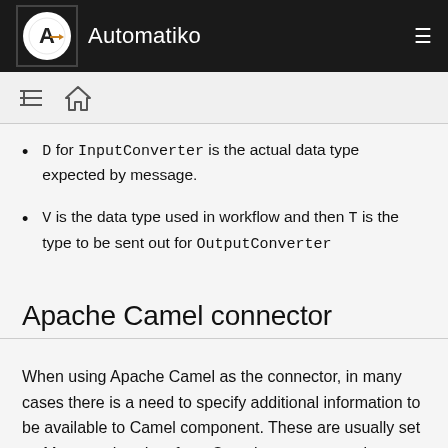Automatiko
D for InputConverter is the actual data type expected by message.
V is the data type used in workflow and then T is the type to be sent out for OutputConverter
Apache Camel connector
When using Apache Camel as the connector, in many cases there is a need to specify additional information to be available to Camel component. These are usually set as Message headers from Camel component point